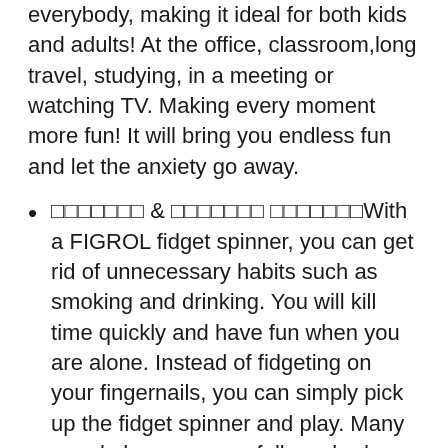everybody, making it ideal for both kids and adults! At the office, classroom,long travel, studying, in a meeting or watching TV. Making every moment more fun! It will bring you endless fun and let the anxiety go away.
🔲🔲🔲🔲🔲🔲🔲 & 🔲🔲🔲🔲🔲🔲🔲 🔲🔲🔲🔲🔲🔲🔲With a FIGROL fidget spinner, you can get rid of unnecessary habits such as smoking and drinking. You will kill time quickly and have fun when you are alone. Instead of fidgeting on your fingernails, you can simply pick up the fidget spinner and play. Many people have successfully curbed unessential habits by using this cool fidget toy.
🔲🔲🔲🔲🔲🔲🔲 & 🔲🔲🔲🔲🔲🔲🔲 🔲🔲🔲🔲🔲🔲🔲🔲🔲🔲🔲🔲🔲🔲!